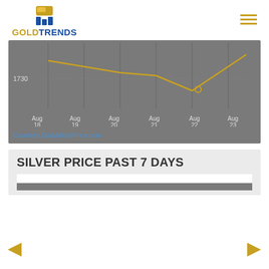GOLDTRENDS
[Figure (continuous-plot): Gold price line chart for past 7 days showing dates Aug 18 through Aug 23 on x-axis. Y-axis shows value 1730. A gold-colored line dips and rises across the chart. Dark gray background. Courtesy DailyMetalPrice.com credit shown below chart.]
Courtesy DailyMetalPrice.com
SILVER PRICE PAST 7 DAYS